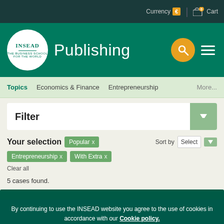Currency € | 0 Cart
INSEAD Publishing
Topics  Economics & Finance  Entrepreneurship  More...
Filter
Your selection   Popular x   Entrepreneurship x   With Extra x   Sort by  Select
Clear all
5 cases found.
By continuing to use the INSEAD website you agree to the use of cookies in accordance with our Cookie policy.
Manage cookies